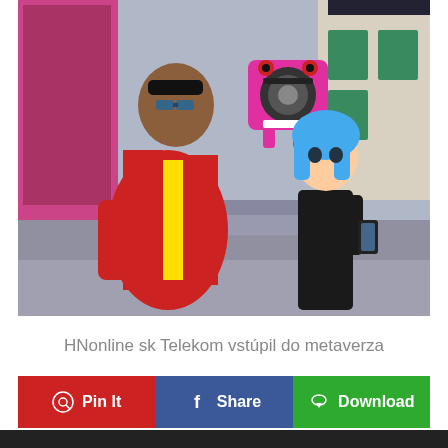[Figure (illustration): 3D animated characters on a street scene — a man in a red jacket with yellow shirt and sunglasses with a pink boombox character, and a blue-haired female character taking a selfie with a phone]
HNonline sk Telekom vstúpil do metaverza
Pin It
Share
Download